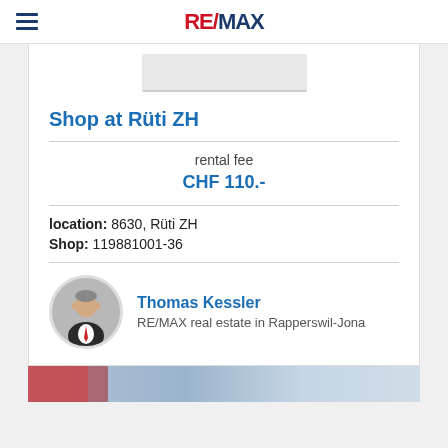RE/MAX
[Figure (photo): Property image placeholder at top of card]
Shop at Rüti ZH
rental fee
CHF 110.-
location: 8630, Rüti ZH
Shop: 119881001-36
[Figure (photo): Portrait photo of agent Thomas Kessler in a suit]
Thomas Kessler
RE/MAX real estate in Rapperswil-Jona
[Figure (photo): Bottom strip showing outdoor scene with red accents]